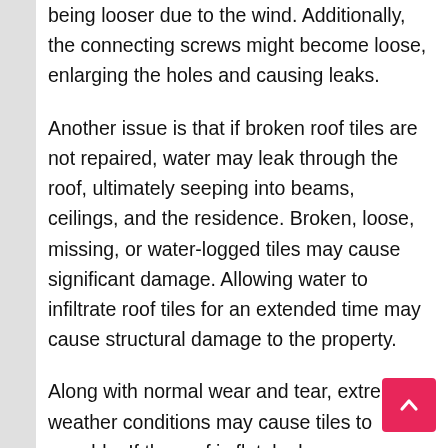being looser due to the wind. Additionally, the connecting screws might become loose, enlarging the holes and causing leaks.
Another issue is that if broken roof tiles are not repaired, water may leak through the roof, ultimately seeping into beams, ceilings, and the residence. Broken, loose, missing, or water-logged tiles may cause significant damage. Allowing water to infiltrate roof tiles for an extended time may cause structural damage to the property.
Along with normal wear and tear, extreme weather conditions may cause tiles to crumble. If the roof is flat, leaks are more likely to occur due to poor craftsmanship or cold seams in the concrete. You can save a great deal on the cost